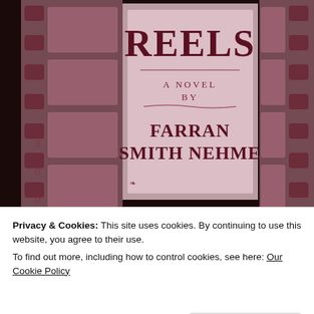[Figure (photo): Book cover image showing 'REELS - A Novel by Farran Smith Nehme' with film strip/reel background in sepia/rose tones. Large serif text showing 'REELS' at top, then 'A NOVEL BY' in smaller text with decorative flourishes, then 'FARRAN SMITH NEHME' in bold serif. Background shows film frames/sprocket holes.]
Privacy & Cookies: This site uses cookies. By continuing to use this website, you agree to their use.
To find out more, including how to control cookies, see here: Our Cookie Policy
Close and accept